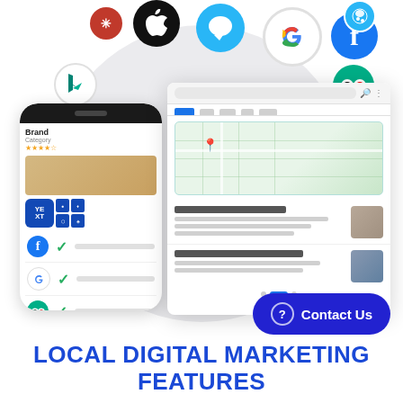[Figure (infographic): Local digital marketing features infographic showing app icons (Yelp, Apple, Snapchat, Google, Facebook, Bing, Waze, TripAdvisor) above device mockups: a smartphone showing business listing with Facebook, Google, TripAdvisor checkmarks, and a browser window showing Google Maps search results with business listings.]
Contact Us
LOCAL DIGITAL MARKETING FEATURES